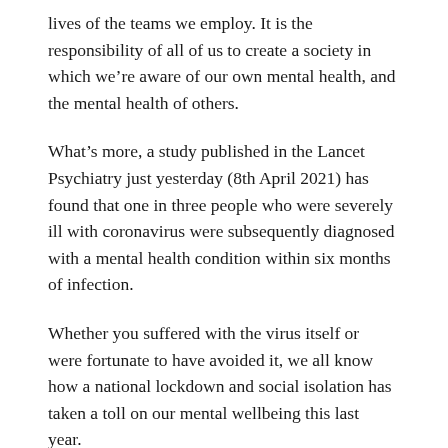lives of the teams we employ. It is the responsibility of all of us to create a society in which we're aware of our own mental health, and the mental health of others.
What's more, a study published in the Lancet Psychiatry just yesterday (8th April 2021) has found that one in three people who were severely ill with coronavirus were subsequently diagnosed with a mental health condition within six months of infection.
Whether you suffered with the virus itself or were fortunate to have avoided it, we all know how a national lockdown and social isolation has taken a toll on our mental wellbeing this last year.